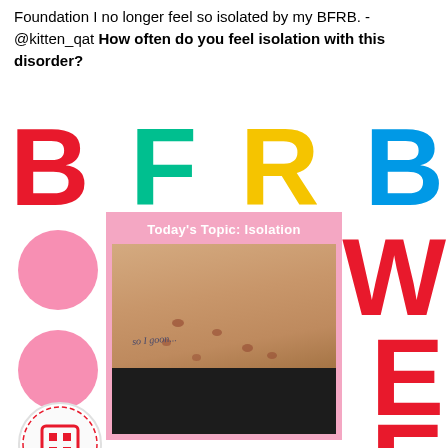Foundation I no longer feel so isolated by my BFRB.  - @kitten_qat How often do you feel isolation with this disorder?
[Figure (infographic): BFRB Week infographic with large colorful letters B, F, R, B and W, E, E spelling BFRB WEEK, two pink circles, a QR code, and a central image of a person's neck/chest area with skin picking marks, overlaid with a pink banner reading 'Today's Topic: Isolation']